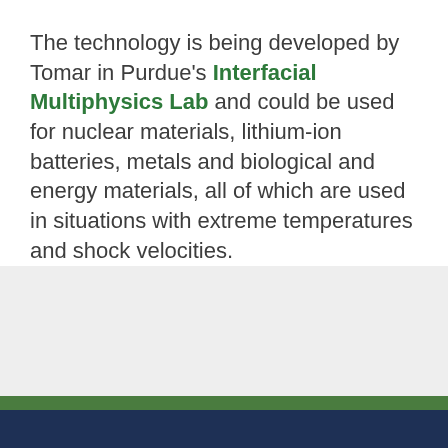The technology is being developed by Tomar in Purdue's Interfacial Multiphysics Lab and could be used for nuclear materials, lithium-ion batteries, metals and biological and energy materials, all of which are used in situations with extreme temperatures and shock velocities.